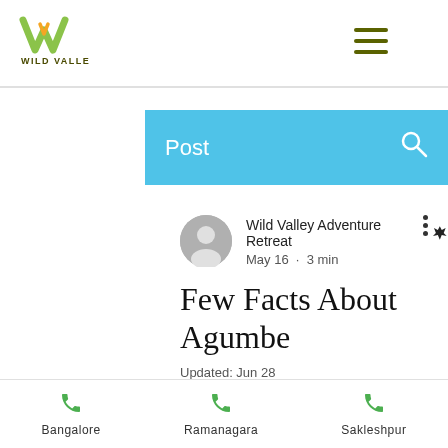[Figure (logo): Wild Valley logo with stylized W and text WILD VALLEY]
[Figure (infographic): Hamburger menu icon (three horizontal green lines)]
Post
[Figure (illustration): Search icon (magnifying glass)]
Wild Valley Adventure Retreat 👑
May 16 · 3 min
Few Facts About Agumbe
Updated: Jun 28
There may be a hundred reasons to stay indoors but both mountain and beach lovers are found all over the world. If you are someone who is a mountain person then
Bangalore
Ramanagara
Sakleshpur